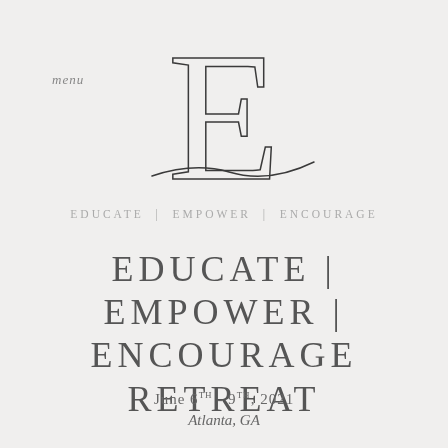[Figure (logo): Stylized large letter E with serif font and a decorative wave/swash line beneath it, forming a logo for the Educate Empower Encourage retreat]
menu
EDUCATE | EMPOWER | ENCOURAGE
EDUCATE | EMPOWER | ENCOURAGE RETREAT
June 6TH - 9TH, 2021
Atlanta, GA